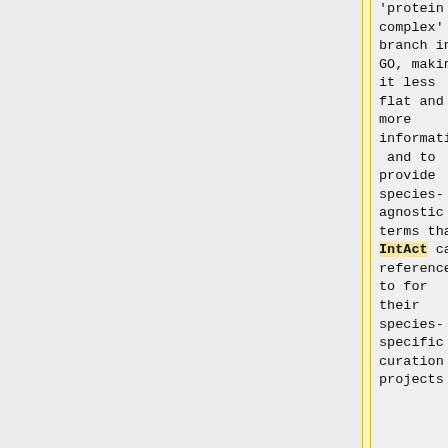| 'protein complex' branch in GO, making it less flat and more informative, and to provide species-agnostic GO terms that IntAct can reference to for their species-specific curation projects | improve the 'protein complex' branch in GO, making it less flat and more informative, and to provide species-agnostic GO terms that Complex Portal can reference to for their species-specific |